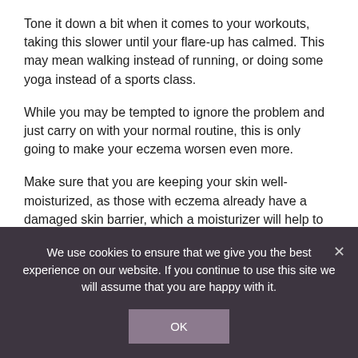Tone it down a bit when it comes to your workouts, taking this slower until your flare-up has calmed. This may mean walking instead of running, or doing some yoga instead of a sports class.
While you may be tempted to ignore the problem and just carry on with your normal routine, this is only going to make your eczema worsen even more.
Make sure that you are keeping your skin well-moisturized, as those with eczema already have a damaged skin barrier, which a moisturizer will help to temporarily heal.
If your flare-up is especially severe, then visit your doctor
We use cookies to ensure that we give you the best experience on our website. If you continue to use this site we will assume that you are happy with it.